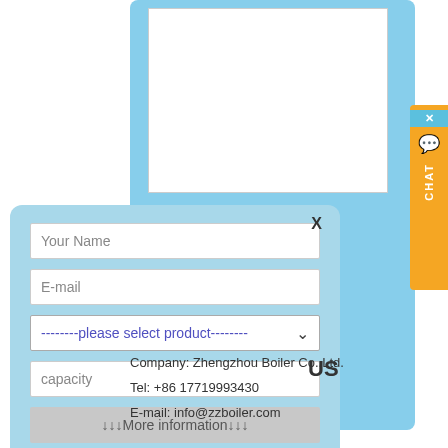[Figure (screenshot): Light blue background panel with white textarea for message input, part of a contact form on a website]
[Figure (screenshot): Orange chat button on right side with X close icon, speech bubble icon, and vertical CHAT label]
[Figure (screenshot): Light blue modal popup with contact form fields: Your Name, E-mail, product dropdown, capacity, More information button, Submit button, and X close button]
US
Company: Zhengzhou Boiler Co.,Ltd.
Tel: +86 17719993430
E-mail: info@zzboiler.com